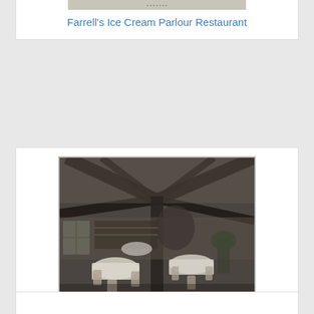[Figure (photo): Top portion of a card showing Farrell's Ice Cream Parlour Restaurant – only the bottom edge of an image is visible]
Farrell's Ice Cream Parlour Restaurant
[Figure (photo): Black and white photograph of the interior of Restaurant Hotel Riffelberg, Zurich, Switzerland – dining room with tables set with white tablecloths, chairs, structural beams on ceiling]
Restaurant Hotel Riffelberg
Zurich, Switzerland